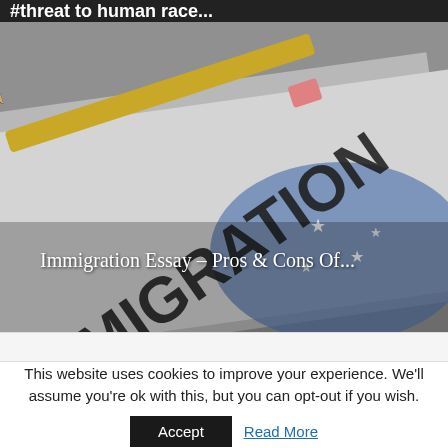#threat to human race...
[Figure (photo): Immigration document with the word IMMIGRATION printed prominently, a pencil resting on top, and a partial view of a blue flag with stars in the background. The image is in muted gray and blue tones.]
Immigration Essay – Pros & Cons Of...
This website uses cookies to improve your experience. We'll assume you're ok with this, but you can opt-out if you wish.
Accept   Read More